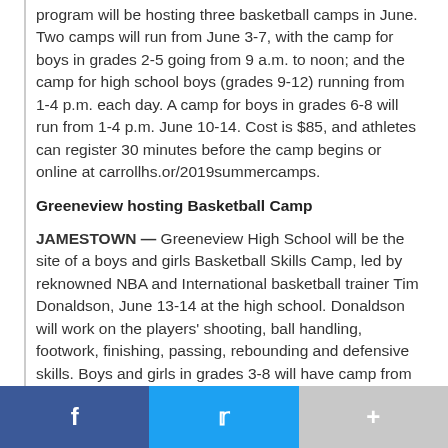program will be hosting three basketball camps in June. Two camps will run from June 3-7, with the camp for boys in grades 2-5 going from 9 a.m. to noon; and the camp for high school boys (grades 9-12) running from 1-4 p.m. each day. A camp for boys in grades 6-8 will run from 1-4 p.m. June 10-14. Cost is $85, and athletes can register 30 minutes before the camp begins or online at carrollhs.or/2019summercamps.
Greeneview hosting Basketball Camp
JAMESTOWN — Greeneview High School will be the site of a boys and girls Basketball Skills Camp, led by reknowned NBA and International basketball trainer Tim Donaldson, June 13-14 at the high school. Donaldson will work on the players' shooting, ball handling, footwork, finishing, passing, rebounding and defensive skills. Boys and girls in grades 3-8 will have camp from 9 a.m. to 1 p.m.; student athletes in grades 9-12 will have camp from 1-5 p.m. Cost is $60 per player with a limit of 60 players per session. Bring payment on the day of camp. All checks should be made out to: All